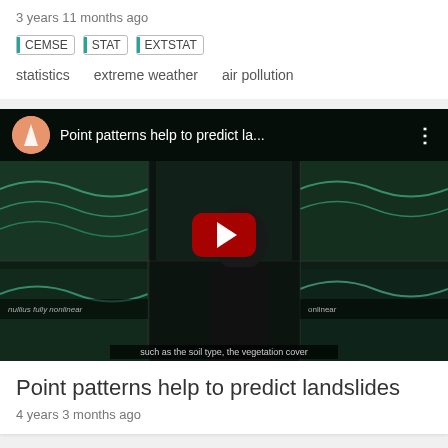3 years 11 months ago
CEMSE  STAT  EXTSTAT
statistics   extreme weather   air pollution
[Figure (screenshot): YouTube video thumbnail for 'Point patterns help to predict la...' showing a person in front of a colorful data visualization display with a red play button in the center]
Point patterns help to predict landslides
4 years 3 months ago